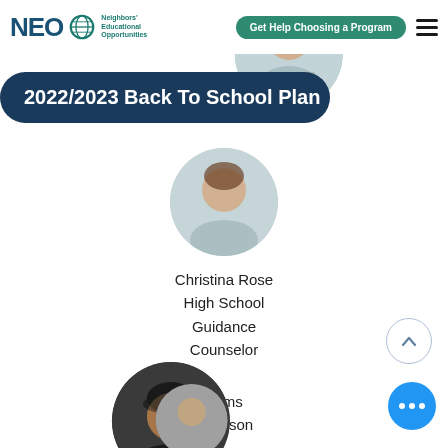[Figure (screenshot): NEO (Neighbors Educational Opportunities) logo with teal globe icon and small text]
Get Help Choosing a Program
[Figure (photo): Circular profile photo of a person at top of page, partially visible]
2022/2023 Back To School Plan
[Figure (photo): Circular profile photo of Christina Rose, partially visible at top of second slot]
Christina Rose
High School
Guidance
Counselor
[Figure (photo): Circular profile photo of Deborah Williams, woman with dark hair smiling]
Deborah Williams
ISS & Parent Liaison